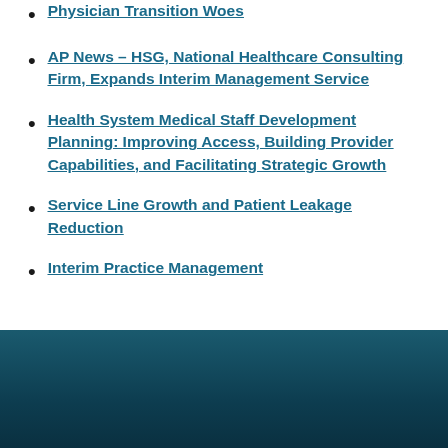Physician Transition Woes
AP News – HSG, National Healthcare Consulting Firm, Expands Interim Management Service
Health System Medical Staff Development Planning: Improving Access, Building Provider Capabilities, and Facilitating Strategic Growth
Service Line Growth and Patient Leakage Reduction
Interim Practice Management